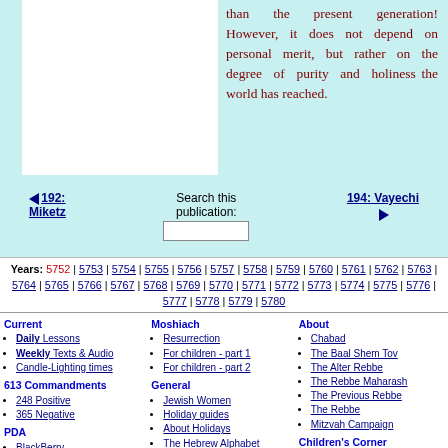than the present generation! However, it does not depend on personal merit, but rather on the degree of purity and holiness the world has reached.
◄ 192: Miketz | Search this publication: | 194: Vayechi ►
Years: 5752 | 5753 | 5754 | 5755 | 5756 | 5757 | 5758 | 5759 | 5760 | 5761 | 5762 | 5763 | 5764 | 5765 | 5766 | 5767 | 5768 | 5769 | 5770 | 5771 | 5772 | 5773 | 5774 | 5775 | 5776 | 5777 | 5778 | 5779 | 5780
Current: Daily Lessons, Weekly Texts & Audio, Candle-Lighting times
613 Commandments: 248 Positive, 365 Negative
PDA: BlackBerry, iPhone / iPod Touch, Java Phones, Palm Pilot, Palm Pre, Pocket PC, P800/P900
Moshiach: Resurrection, For children - part 1, For children - part 2
General: Jewish Women, Holiday guides, About Holidays, The Hebrew Alphabet, Hebrew/English Calendar, Glossary
Books: by SIE
About: Chabad, The Baal Shem Tov, The Alter Rebbe, The Rebbe Maharash, The Previous Rebbe, The Rebbe, Mitzvah Campaign
Children's Corner: Rabbi Riddle, Rebbetzin Riddle, Tzivos Hashem